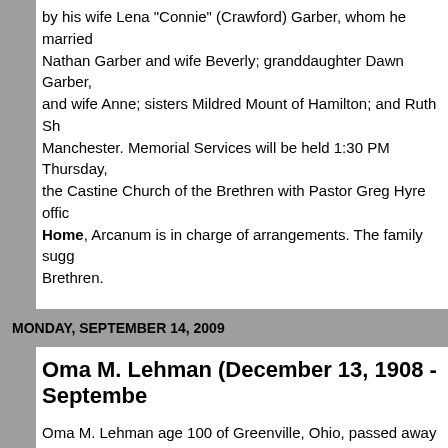by his wife Lena "Connie" (Crawford) Garber, whom he married Nathan Garber and wife Beverly; granddaughter Dawn Garber, and wife Anne; sisters Mildred Mount of Hamilton; and Ruth Sh Manchester. Memorial Services will be held 1:30 PM Thursday, the Castine Church of the Brethren with Pastor Greg Hyre offic Home, Arcanum is in charge of arrangements. The family sugg Brethren.
MONDAY, SEPTEMBER 14, 2009
Oma M. Lehman (December 13, 1908 - Septembe
Oma M. Lehman age 100 of Greenville, Ohio, passed away at House in Greenville. Oma was born December 13, 1908 in Dan Martin.
Oma was a homemaker. She was also a retired school teacher School District for 39 years. Oma graduated from Miami Univer
In addition to her parents, Oma is also preceded in death by he